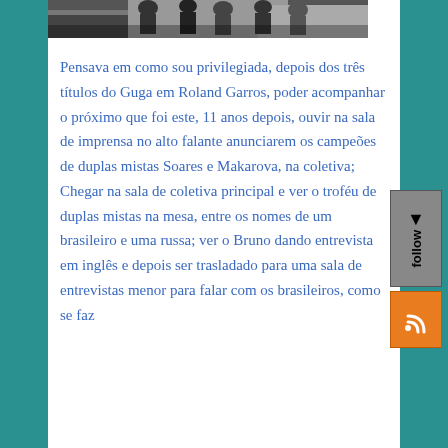[Figure (photo): Black and white photo of people at what appears to be a sporting event or press area, partially visible at top of page]
Pensava em como sou privilegiada, depois dos três títulos do Guga em Roland Garros, poder acompanhar o próximo que foi este, 11 anos depois, ouvir na sala de imprensa no alto falante anunciarem os campeões de duplas mistas Soares e Makarova, na coletiva; Chegar na sala de coletiva principal e ver o troféu de duplas mistas na mesa, entre os nomes de um brasileiro e uma russa; ver o Bruno dando entrevista em inglês e depois ser trasladado para uma sala de entrevistas menor para falar com os brasileiros, como se faz